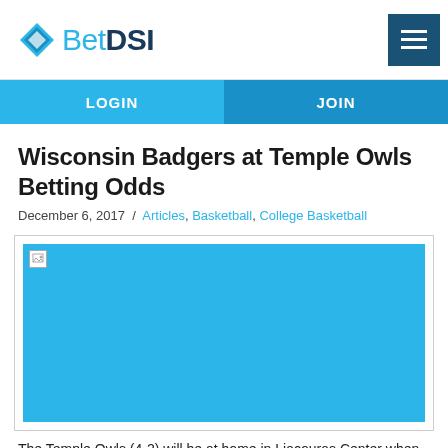BetDSI
Wisconsin Badgers at Temple Owls Betting Odds
December 6, 2017  /  Articles, Basketball, College Basketball
[Figure (photo): Broken image placeholder shown as light blue rectangle with small broken image icon in top left corner]
The Temple Owls (4-2) will be at home in Liacouras Center when